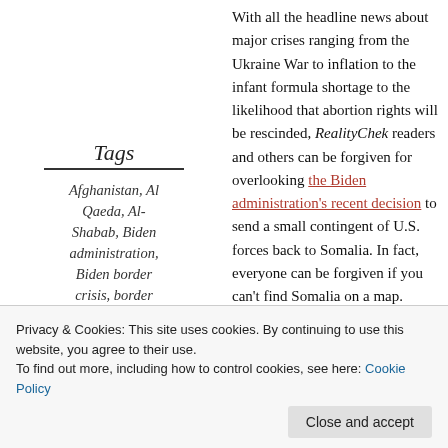With all the headline news about major crises ranging from the Ukraine War to inflation to the infant formula shortage to the likelihood that abortion rights will be rescinded, RealityChek readers and others can be forgiven for overlooking the Biden administration's recent decision to send a small contingent of U.S. forces back to Somalia. In fact, everyone can be forgiven if you can't find Somalia on a map.
Tags
Afghanistan, Al Qaeda, Al-Shabab, Biden administration, Biden border crisis, border security, Donald Trump, globalism, Immigration, jihadists,
But the redeployent is eminently worth discussing because it's the latest example of how foreign policy globalists (like President
Privacy & Cookies: This site uses cookies. By continuing to use this website, you agree to their use. To find out more, including how to control cookies, see here: Cookie Policy
Horn of Africa – after being withdrawn by